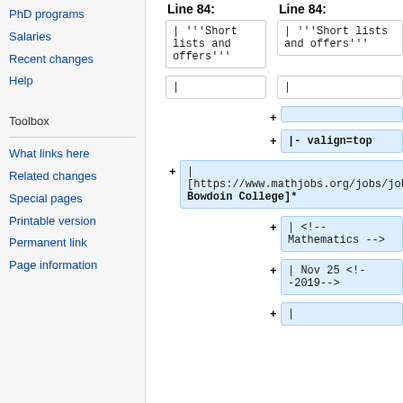PhD programs
Salaries
Recent changes
Help
Toolbox
What links here
Related changes
Special pages
Printable version
Permanent link
Page information
Line 84: (left column header)
Line 84: (right column header)
| '''Short lists and offers'''
|
+ (empty added line)
+ |- valign=top
+ | [https://www.mathjobs.org/jobs/jobs/14772 Bowdoin College]*
+ | <!-- Mathematics -->
+ | Nov 25 <!--2019-->
+ |